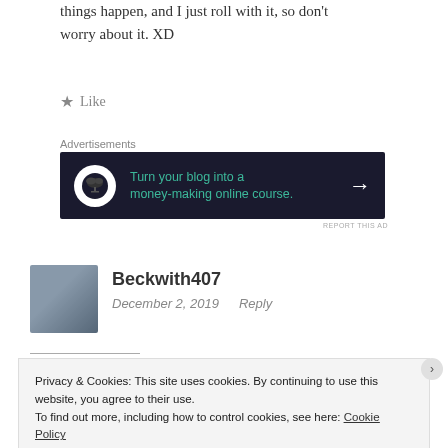things happen, and I just roll with it, so don't worry about it. XD
★ Like
Advertisements
[Figure (other): Advertisement banner: dark navy background with bonsai tree icon, teal text reading 'Turn your blog into a money-making online course.' with white right arrow.]
REPORT THIS AD
Beckwith407
December 2, 2019    Reply
Privacy & Cookies: This site uses cookies. By continuing to use this website, you agree to their use.
To find out more, including how to control cookies, see here: Cookie Policy
Close and accept